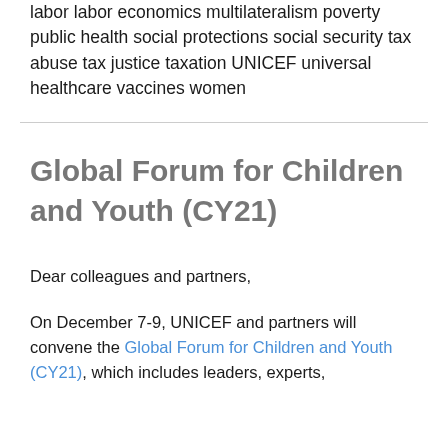labor labor economics multilateralism poverty public health social protections social security tax abuse tax justice taxation UNICEF universal healthcare vaccines women
Global Forum for Children and Youth (CY21)
Dear colleagues and partners,
On December 7-9, UNICEF and partners will convene the Global Forum for Children and Youth (CY21), which includes leaders, experts,